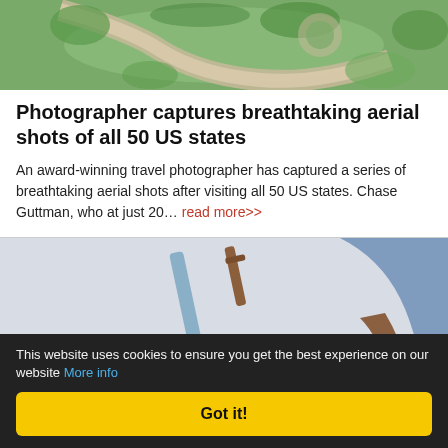[Figure (photo): Aerial shot of a winding road through green landscaped area, viewed from above]
Photographer captures breathtaking aerial shots of all 50 US states
An award-winning travel photographer has captured a series of breathtaking aerial shots after visiting all 50 US states. Chase Guttman, who at just 20... read more>>
[Figure (photo): Person standing next to a vacuum cleaner and an Amazon box on a light-colored floor]
This website uses cookies to ensure you get the best experience on our website More info
Got it!